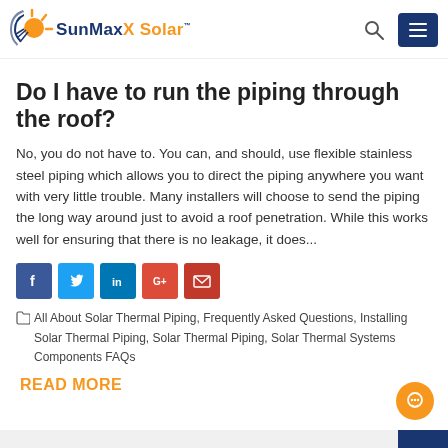SunMaxX Solar
Do I have to run the piping through the roof?
No, you do not have to. You can, and should, use flexible stainless steel piping which allows you to direct the piping anywhere you want with very little trouble. Many installers will choose to send the piping the long way around just to avoid a roof penetration. While this works well for ensuring that there is no leakage, it does...
[Figure (infographic): Social sharing buttons: Facebook, Twitter, LinkedIn, Google+, Email]
All About Solar Thermal Piping, Frequently Asked Questions, Installing Solar Thermal Piping, Solar Thermal Piping, Solar Thermal Systems Components FAQs
READ MORE